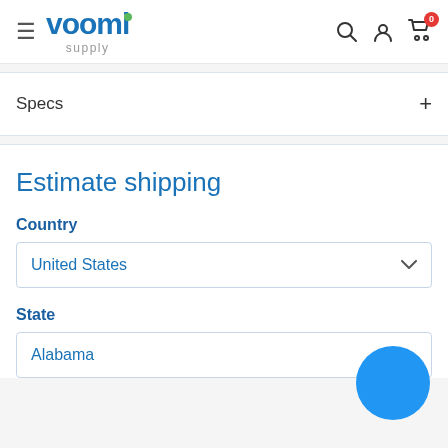voomi supply — navigation header with hamburger menu, search, user, and cart icons
Specs +
Estimate shipping
Country
United States
State
Alabama